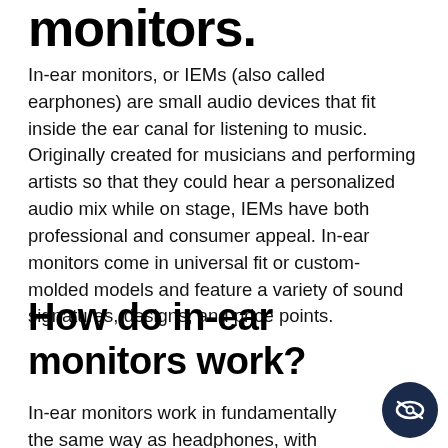monitors.
In-ear monitors, or IEMs (also called earphones) are small audio devices that fit inside the ear canal for listening to music. Originally created for musicians and performing artists so that they could hear a personalized audio mix while on stage, IEMs have both professional and consumer appeal. In-ear monitors come in universal fit or custom-molded models and feature a variety of sound signatures, designs, and price points.
How do in-ear monitors work?
In-ear monitors work in fundamentally the same way as headphones, with internal drivers that